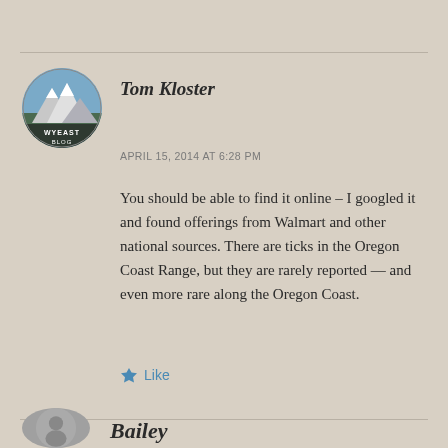Tom Kloster
APRIL 15, 2014 AT 6:28 PM
You should be able to find it online – I googled it and found offerings from Walmart and other national sources. There are ticks in the Oregon Coast Range, but they are rarely reported — and even more rare along the Oregon Coast.
Like
Bailey